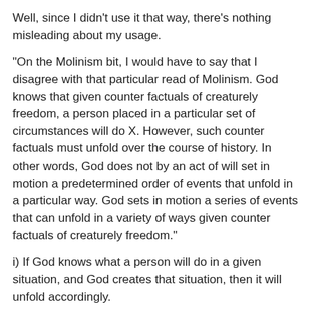Well, since I didn't use it that way, there's nothing misleading about my usage.
“On the Molinism bit, I would have to say that I disagree with that particular read of Molinism. God knows that given counter factuals of creaturely freedom, a person placed in a particular set of circumstances will do X. However, such counter factuals must unfold over the course of history. In other words, God does not by an act of will set in motion a predetermined order of events that unfold in a particular way. God sets in motion a series of events that can unfold in a variety of ways given counter factuals of creaturely freedom.”
i) If God knows what a person will do in a given situation, and God creates that situation, then it will unfold accordingly.
ii) In Molinism, God is not instantiating a wide-open scenario. Rather, he’s instantiating one possible world to the exclusion of another (or other) possible alternative(s). It’s not two or more possible worlds bundled into one actual world–as if contraries are simultaneously instantiable.